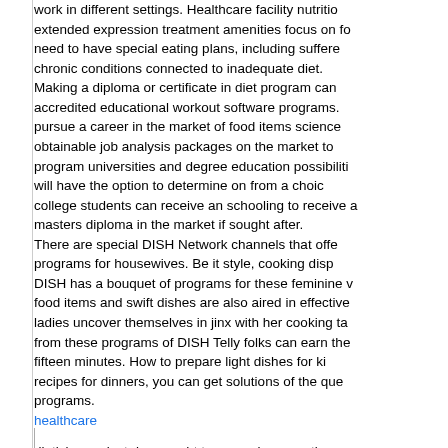work in different settings. Healthcare facility nutrition extended expression treatment amenities focus on food need to have special eating plans, including suffere chronic conditions connected to inadequate diet. Making a diploma or certificate in diet program can accredited educational workout software programs. pursue a career in the market of food items science obtainable job analysis packages on the market to program universities and degree education possibiliti will have the option to determine on from a choic college students can receive an schooling to receive a masters diploma in the market if sought after. There are special DISH Network channels that offe programs for housewives. Be it style, cooking disp DISH has a bouquet of programs for these feminine v food items and swift dishes are also aired in effective ladies uncover themselves in jinx with her cooking ta from these programs of DISH Telly folks can earn the fifteen minutes. How to prepare light dishes for ki recipes for dinners, you can get solutions of the que programs.
healthcare
dietician project rises ought to come down continue
slimming drinks